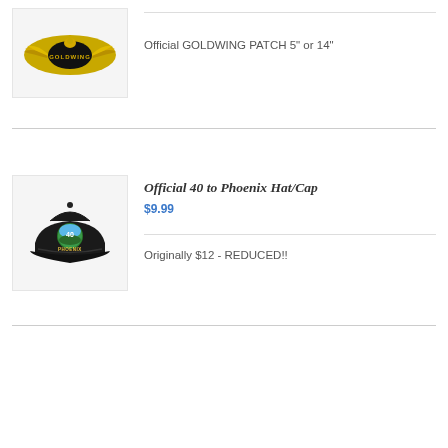[Figure (logo): Goldwing emblem patch logo - golden eagle wings with black oval center and GOLDWING text]
Official GOLDWING PATCH 5" or 14"
[Figure (photo): Black baseball cap with colorful 40 to Phoenix emblem on front]
Official 40 to Phoenix Hat/Cap
$9.99
Originally $12 - REDUCED!!